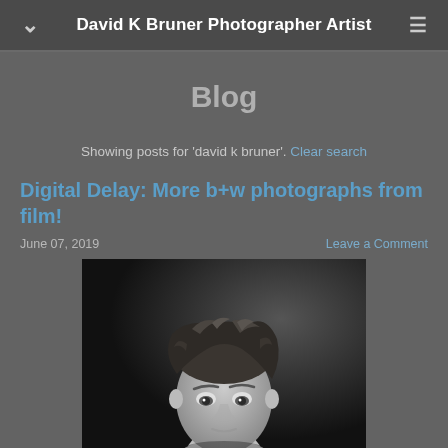David K Bruner Photographer Artist
Blog
Showing posts for 'david k bruner'. Clear search
Digital Delay: More b+w photographs from film!
June 07, 2019    Leave a Comment
[Figure (photo): Black and white portrait photograph of a young person with tousled hair, looking slightly downward, wearing a white top, dramatic lighting against dark background]